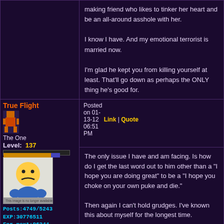making friend who likes to tinker her heart and be an all-around asshole with her.

I know I have. And my emotional terrorist is married now.

I'm glad he kept you from killing yourself at least. That'll go down as perhaps the ONLY thing he's good for.
True Flight
The One
Level: 137
Posts:4749/5243
EXP:30776511
For next:96344
Since: 08-21-04
Since last post: 2076 days
Last activity: 2061 days
no user specified
Posted on 01-13-12   Link | Quote  06:51 PM
The only issue I have and am facing. Is how do I get the last word out to him other than a "I hope you are doing great" to be a "I hope you choke on your own puke and die."

Then again I can't hold grudges. I've known this about myself for the longest time.

I want him to realize what he's done. But more than likely he will walk away and go "She's in GA big deal. What a psycho."
True Flight
Posted on 01-16-12   Link | Quote